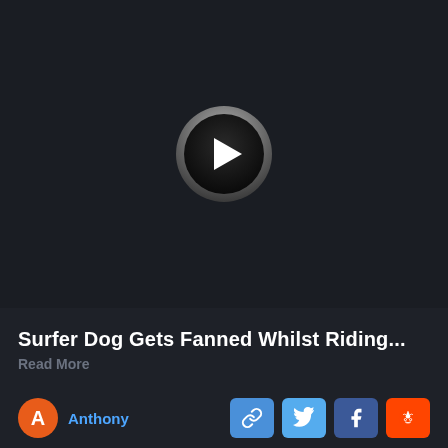[Figure (screenshot): Dark video player thumbnail area with a circular play button in the center. The play button has a dark background with a metallic ring and white triangle pointing right.]
Surfer Dog Gets Fanned Whilst Riding...
Read More
Anthony
[Figure (other): Social share buttons: link/copy button (blue), Twitter button (light blue), Facebook button (dark blue), Reddit button (orange)]